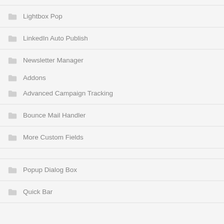Lightbox Pop
LinkedIn Auto Publish
Newsletter Manager
Addons
Advanced Campaign Tracking
Bounce Mail Handler
More Custom Fields
Popup Dialog Box
Quick Bar